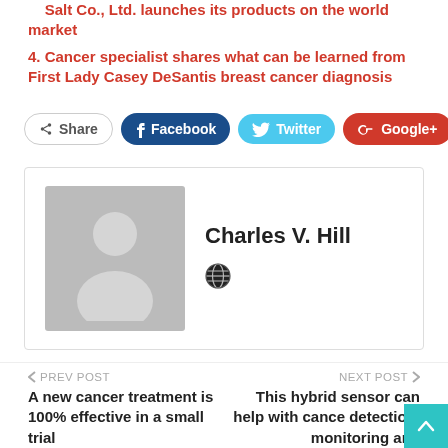Salt Co., Ltd. launches its products on the world market
4. Cancer specialist shares what can be learned from First Lady Casey DeSantis breast cancer diagnosis
[Figure (screenshot): Social share buttons: Share, Facebook, Twitter, Google+, and a plus button]
[Figure (infographic): Author card with avatar placeholder image, name Charles V. Hill, and a globe icon]
PREV POST — A new cancer treatment is 100% effective in a small trial
NEXT POST — This hybrid sensor can help with cancer detection, monitoring and